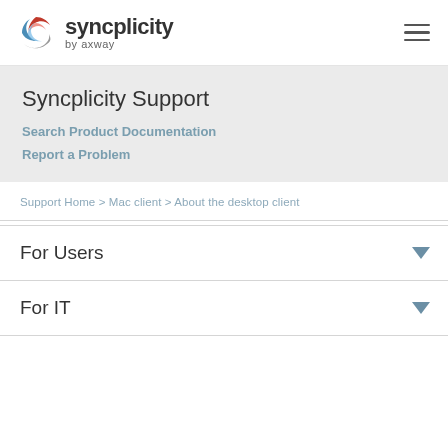syncplicity by axway
Syncplicity Support
Search Product Documentation
Report a Problem
Support Home > Mac client > About the desktop client
For Users
For IT